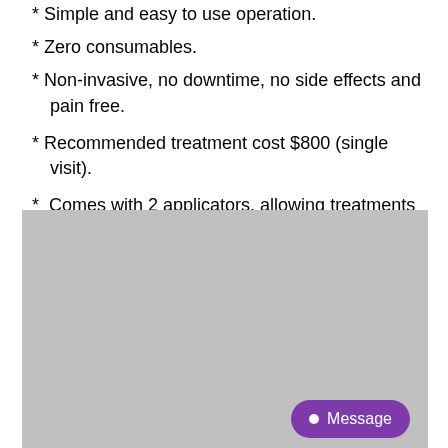* Simple and easy to use operation.
* Zero consumables.
* Non-invasive, no downtime, no side effects and pain free.
* Recommended treatment cost $800 (single visit).
* Comes with 2 applicators, allowing treatments for stomach, buttocks, arms and thighs.
[Figure (photo): Gray placeholder image area for product or treatment photo]